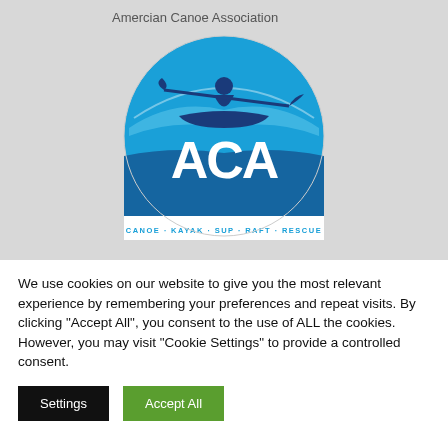Amercian Canoe Association
[Figure (logo): American Canoe Association (ACA) circular logo with blue background, figure of a person kayaking, and text 'ACA' in large white letters. Bottom banner reads 'CANOE · KAYAK · SUP · RAFT · RESCUE']
We use cookies on our website to give you the most relevant experience by remembering your preferences and repeat visits. By clicking "Accept All", you consent to the use of ALL the cookies. However, you may visit "Cookie Settings" to provide a controlled consent.
Settings
Accept All